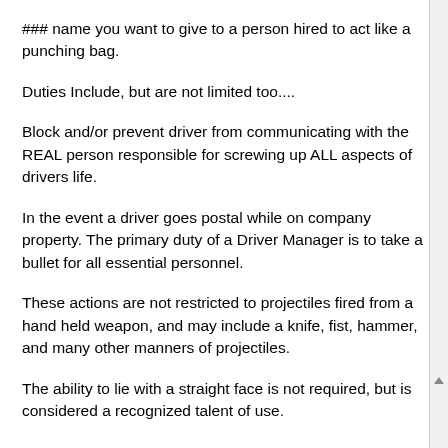### name you want to give to a person hired to act like a punching bag.
Duties Include, but are not limited too....
Block and/or prevent driver from communicating with the REAL person responsible for screwing up ALL aspects of drivers life.
In the event a driver goes postal while on company property. The primary duty of a Driver Manager is to take a bullet for all essential personnel.
These actions are not restricted to projectiles fired from a hand held weapon, and may include a knife, fist, hammer, and many other manners of projectiles.
The ability to lie with a straight face is not required, but is considered a recognized talent of use.